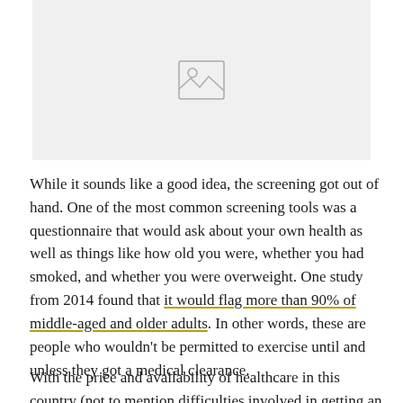[Figure (photo): Placeholder image box with image icon at top center]
While it sounds like a good idea, the screening got out of hand. One of the most common screening tools was a questionnaire that would ask about your own health as well as things like how old you were, whether you had smoked, and whether you were overweight. One study from 2014 found that it would flag more than 90% of middle-aged and older adults. In other words, these are people who wouldn't be permitted to exercise until and unless they got a medical clearance.
With the price and availability of healthcare in this country (not to mention difficulties involved in getting an appointment, taking time off work if needed, and so on)